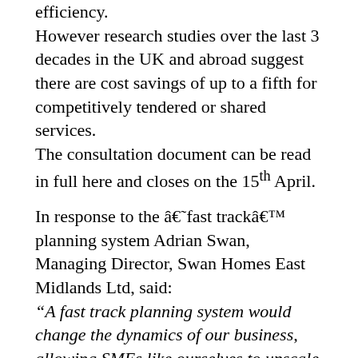efficiency.
However research studies over the last 3 decades in the UK and abroad suggest there are cost savings of up to a fifth for competitively tendered or shared services.
The consultation document can be read in full here and closes on the 15th April.
In response to the â€˜fast trackâ€™ planning system Adrian Swan, Managing Director, Swan Homes East Midlands Ltd, said:
“A fast track planning system would change the dynamics of our business, allowing SMEs like ourselves to upscale housing supply in support of the governmentâ€™s projected national targets, and assist in greater delivery, while having the ability to gain improved and quicker access to main